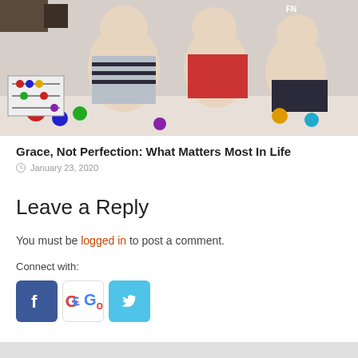[Figure (photo): Photo of two babies/toddlers sitting together on the floor with colorful toys around them. One wears a striped shirt.]
Grace, Not Perfection: What Matters Most In Life
January 23, 2020
Leave a Reply
You must be logged in to post a comment.
Connect with: